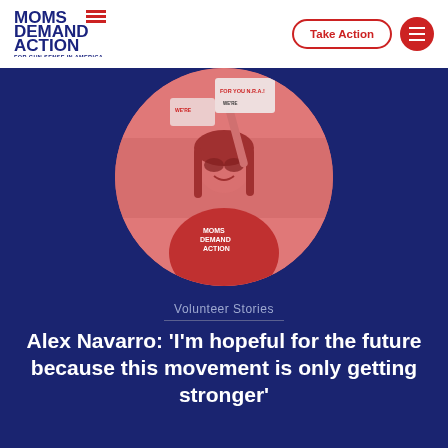[Figure (logo): Moms Demand Action for Gun Sense in America logo with red horizontal lines]
Take Action
[Figure (photo): Circular cropped photo of a woman in a red Moms Demand Action shirt holding protest signs, rendered in a red/salmon duotone on a dark navy background]
Volunteer Stories
Alex Navarro: 'I'm hopeful for the future because this movement is only getting stronger'